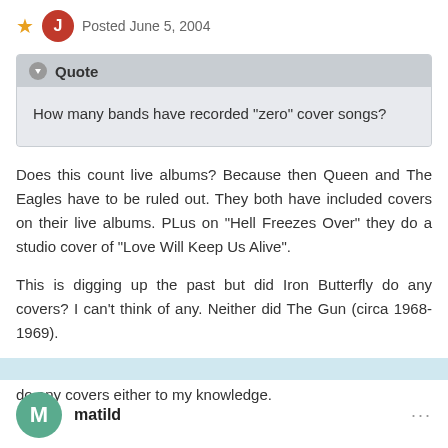Posted June 5, 2004
Quote
How many bands have recorded "zero" cover songs?
Does this count live albums? Because then Queen and The Eagles have to be ruled out. They both have included covers on their live albums. PLus on "Hell Freezes Over" they do a studio cover of "Love Will Keep Us Alive".
This is digging up the past but did Iron Butterfly do any covers? I can't think of any. Neither did The Gun (circa 1968-1969).
Legendary Aussie psychadelic Surf band Tamam Shud didn't do any covers either to my knowledge.
matild